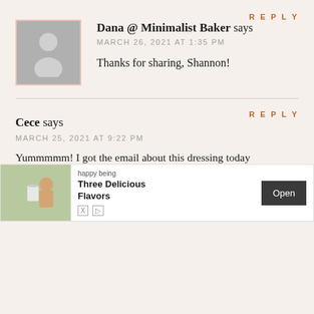REPLY
Dana @ Minimalist Baker says
MARCH 26, 2021 AT 1:35 PM
Thanks for sharing, Shannon!
REPLY
Cece says
MARCH 25, 2021 AT 9:22 PM
Yummmmm! I got the email about this dressing today & knew ... rsley so sub... e delicious and I optimistically checked the...
[Figure (other): Advertisement banner: happy being, Three Delicious Flavors, Open button]